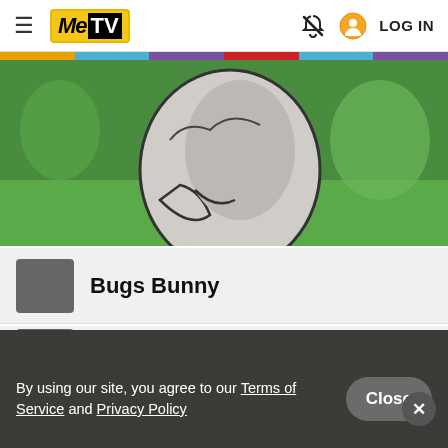MeTV — LOG IN
[Figure (screenshot): Partially visible cartoon animation frame showing Bugs Bunny character on green grass background, with colored stripe bar at top]
Bugs Bunny
Someone else
By using our site, you agree to our Terms of Service and Privacy Policy
Close
[Figure (infographic): Advertisement for Topgolf Ashburn: OPEN 10AM–11PM, 20356 Commonwealth Center ...]